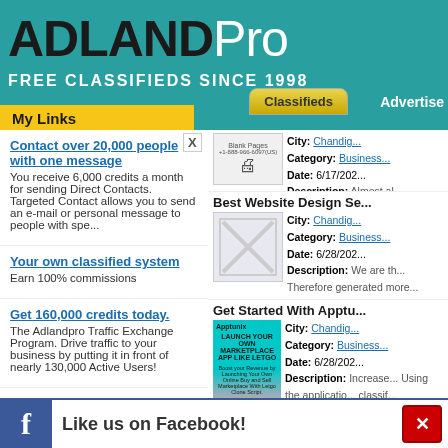ADLANDPro FREE CLASSIFIEDS SINCE 1998
My Links
Classifieds | Advertise
Contact over 20,000 people with one message
You receive 6,000 credits a month for sending Direct Contacts. Targeted Contact allows you to send an e-mail or personal message to people with spe...
Your own classified system
Earn 100% commissions
Get 160,000 credits today.
The Adlandpro Traffic Exchange Program. Drive traffic to your business by putting it in front of nearly 130,000 Active Users!
Call me weird but this pays me...ping....
I l... some streams.
City: Chandig...
Category: Business...
Date: 6/17/202...
Description: Almost al... obtrusive printing, s... people ...
Best Website Design Se...
City: Chandig...
Category: Business...
Date: 6/28/202...
Description: We are th... Therefore generated more...
Get Started With Apptu...
City: Chandig...
Category: Business...
Date: 6/28/202...
Description: Increase... Using the applicatio... classif...
Afosto SaaS BV
City: Chandig...
Category: Business...
Like us on Facebook!